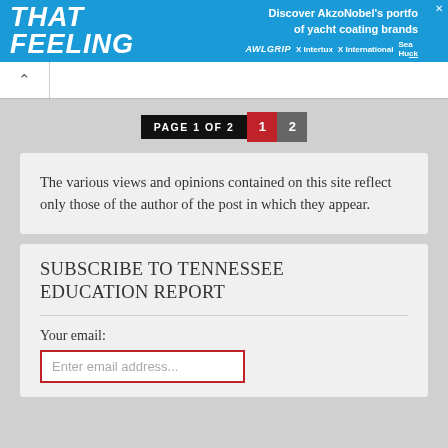[Figure (other): Banner advertisement for AkzoNobel yacht coating brands featuring 'THAT FEELING' text in bold italic white on blue background, with brand names AWLGRIP, Intertux, International, Sea Hawk]
PAGE 1 OF 2  1  2
The various views and opinions contained on this site reflect only those of the author of the post in which they appear.
SUBSCRIBE TO TENNESSEE EDUCATION REPORT
Your email:
Enter email address...